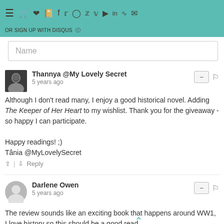OR SIGN UP WITH DISQUS
Name
Thannya @My Lovely Secret
5 years ago

Although I don't read many, I enjoy a good historical novel. Adding The Keeper of Her Heart to my wishlist. Thank you for the giveaway - so happy I can participate.

Happy readings! ;)
Tânia @MyLovelySecret
Darlene Owen
5 years ago

The review sounds like an exciting book that happens around WW1, I love history so this should be a good read.